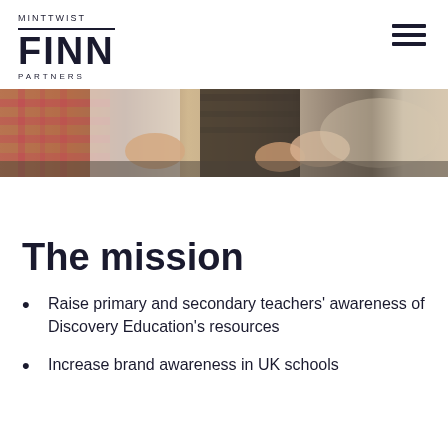MINTTWIST FINN PARTNERS
[Figure (photo): Close-up photo of hands on a desk or keyboard, people collaborating]
The mission
Raise primary and secondary teachers' awareness of Discovery Education's resources
Increase brand awareness in UK schools